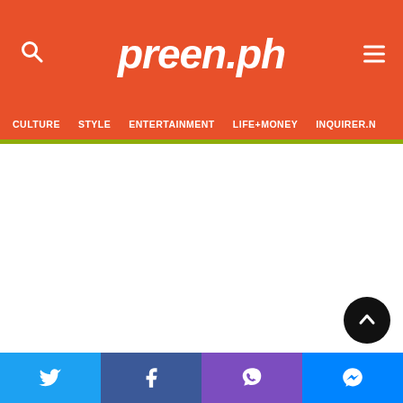preen.ph
CULTURE  STYLE  ENTERTAINMENT  LIFE+MONEY  INQUIRER.N
[Figure (screenshot): Empty white content area below the navigation bar]
Twitter  Facebook  Viber  Messenger social sharing bar